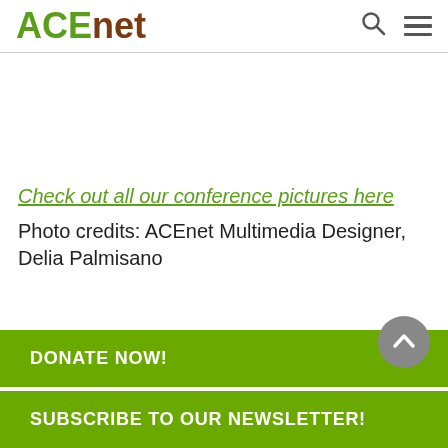ACEnet
Check out all our conference pictures here
Photo credits: ACEnet Multimedia Designer, Delia Palmisano
DONATE NOW!
SUBSCRIBE TO OUR NEWSLETTER!